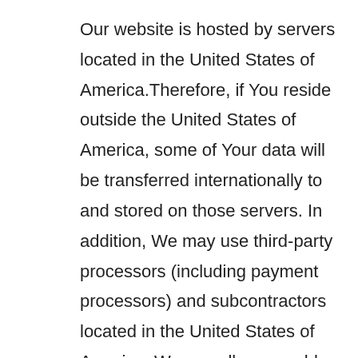Our website is hosted by servers located in the United States of America.Therefore, if You reside outside the United States of America, some of Your data will be transferred internationally to and stored on those servers. In addition, We may use third-party processors (including payment processors) and subcontractors located in the United States of America .We use all reasonable methods to protect the safety of Your data during transfer, including hosting Our website on reputable servers and engaging reputable third-party processors. By using this site and providing Us with information, You consent to this transfer, processing, and storage of